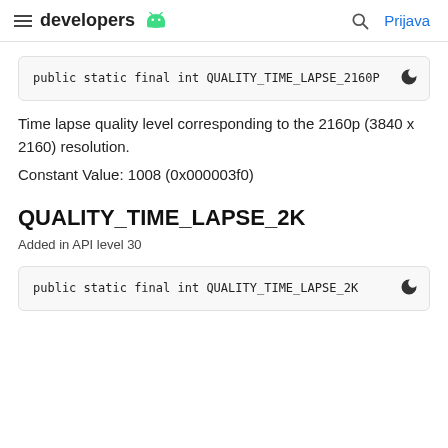developers | Prijava
public static final int QUALITY_TIME_LAPSE_2160P
Time lapse quality level corresponding to the 2160p (3840 x 2160) resolution.
Constant Value: 1008 (0x000003f0)
QUALITY_TIME_LAPSE_2K
Added in API level 30
public static final int QUALITY_TIME_LAPSE_2K